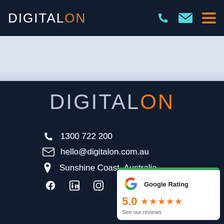[Figure (logo): DigitalOn navigation bar logo with phone, email and hamburger menu icons on dark navy background]
[Figure (illustration): Light blue-grey hero strip / banner area below navigation]
[Figure (logo): Large DigitalOn footer logo on dark navy background]
1300 722 200
hello@digitalon.com.au
Sunshine Coast, Australia
[Figure (infographic): Social media icons: Facebook, LinkedIn, Instagram on dark navy background]
[Figure (infographic): Google Rating card showing 5.0 stars and 'See our reviews']